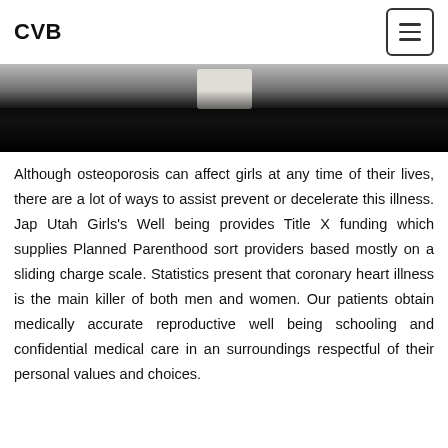CVB
[Figure (photo): Partial photo of a person, mostly dark/black at the bottom, with light-colored clothing visible at the top portion of the image.]
Although osteoporosis can affect girls at any time of their lives, there are a lot of ways to assist prevent or decelerate this illness. Jap Utah Girls's Well being provides Title X funding which supplies Planned Parenthood sort providers based mostly on a sliding charge scale. Statistics present that coronary heart illness is the main killer of both men and women. Our patients obtain medically accurate reproductive well being schooling and confidential medical care in an surroundings respectful of their personal values and choices.